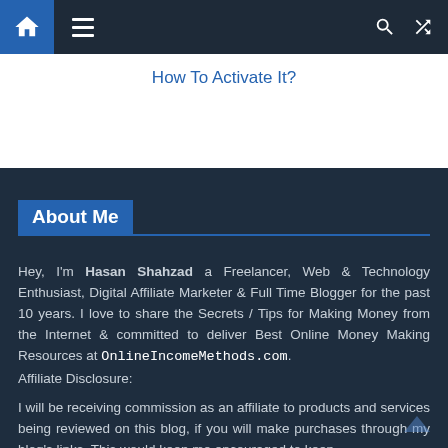[Figure (screenshot): Navigation bar with home icon, hamburger menu, search icon, and shuffle icon on dark background]
How To Activate It?
About Me
Hey, I'm Hasan Shahzad a Freelancer, Web & Technology Enthusiast, Digital Affiliate Marketer & Full Time Blogger for the past 10 years. I love to share the Secrets / Tips for Making Money from the Internet & committed to deliver Best Online Money Making Resources at OnlineIncomeMethods.com.
Affiliate Disclosure:
I will be receiving commission as an affiliate to products and services being reviewed on this blog, if you will make purchases through my blog's links. This would keep me encouraged to keep